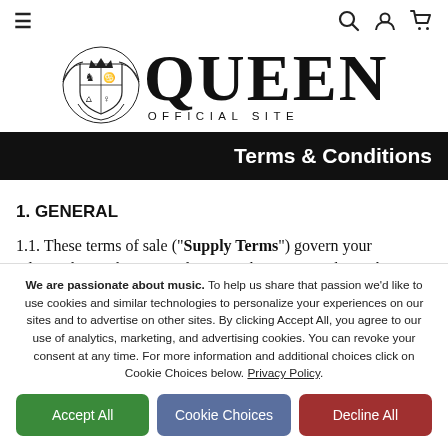≡  🔍 👤 🛒
[Figure (logo): Queen Official Site logo with heraldic crest on left and QUEEN wordmark in large serif font on right, with OFFICIAL SITE in spaced capitals below]
Terms & Conditions
1. GENERAL
1.1. These terms of sale ("Supply Terms") govern your relationship with Universal Music when you use this webstore
We are passionate about music. To help us share that passion we'd like to use cookies and similar technologies to personalize your experiences on our sites and to advertise on other sites. By clicking Accept All, you agree to our use of analytics, marketing, and advertising cookies. You can revoke your consent at any time. For more information and additional choices click on Cookie Choices below. Privacy Policy.